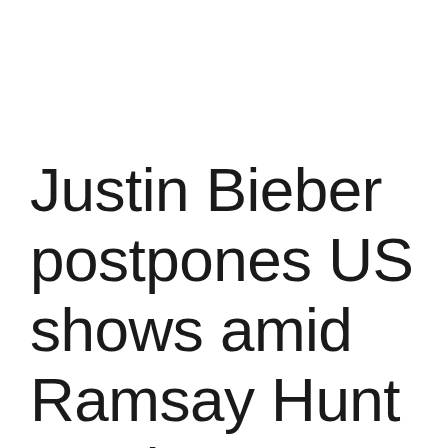Justin Bieber postpones US shows amid Ramsay Hunt syndrome diagnosis